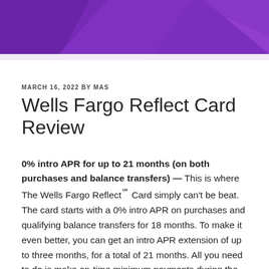[Figure (illustration): Purple decorative header banner with diagonal geometric shapes in varying shades of purple]
MARCH 16, 2022 BY MAS
Wells Fargo Reflect Card Review
0% intro APR for up to 21 months (on both purchases and balance transfers) — This is where The Wells Fargo Reflect℠ Card simply can't be beat. The card starts with a 0% intro APR on purchases and qualifying balance transfers for 18 months. To make it even better, you can get an intro APR extension of up to three months, for a total of 21 months. All you need to do is make on-time minimum payments during the intro and